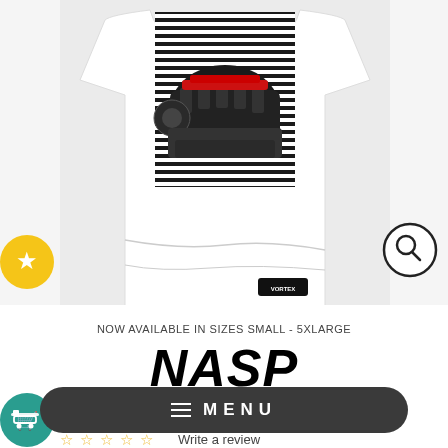[Figure (photo): White t-shirt with automotive engine graphic and striped background design, shown folded/laid flat. Brand label visible at bottom right corner.]
NOW AVAILABLE IN SIZES SMALL - 5XLARGE
NASP
MENU
Write a review